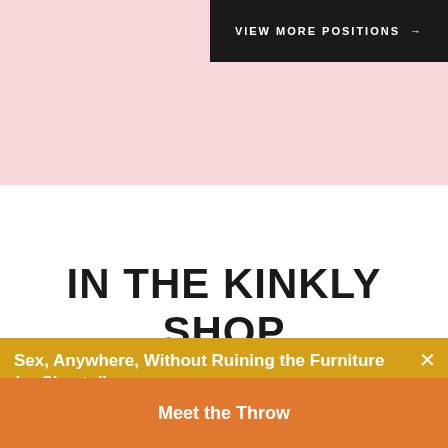[Figure (screenshot): Black button with text VIEW MORE POSITIONS and arrow on pink background]
IN THE KINKLY SHOP
[Figure (screenshot): Outlined button with text VISIT THE KINKLY SHOP and arrow]
Sex, Anywhere, Without Ruining the Furniture (or Sheets!)
Meet the Throw